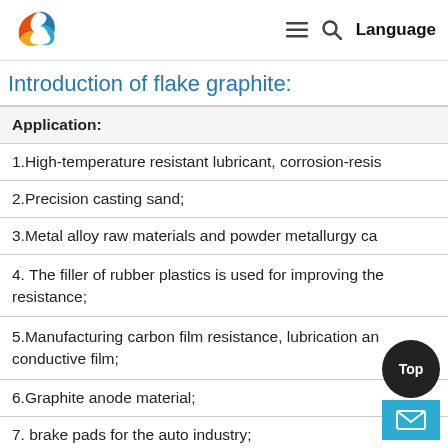Language
Introduction of flake graphite:
| Application: |
| --- |
| 1.High-temperature resistant lubricant, corrosion-resis... |
| 2.Precision casting sand; |
| 3.Metal alloy raw materials and powder metallurgy ca... |
| 4. The filler of rubber plastics is used for improving the resistance; |
| 5.Manufacturing carbon film resistance, lubrication an... conductive film; |
| 6.Graphite anode material; |
| 7. brake pads for the auto industry; |
| 8.Gasket coating for high pressure steam an... |